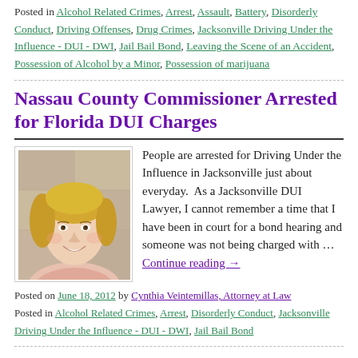Posted in Alcohol Related Crimes, Arrest, Assault, Battery, Disorderly Conduct, Driving Offenses, Drug Crimes, Jacksonville Driving Under the Influence - DUI - DWI, Jail Bail Bond, Leaving the Scene of an Accident, Possession of Alcohol by a Minor, Possession of marijuana
Nassau County Commissioner Arrested for Florida DUI Charges
[Figure (photo): Mugshot photo of a blonde woman smiling, taken against a white/gray wall background.]
People are arrested for Driving Under the Influence in Jacksonville just about everyday. As a Jacksonville DUI Lawyer, I cannot remember a time that I have been in court for a bond hearing and someone was not being charged with … Continue reading →
Posted on June 18, 2012 by Cynthia Veintemillas, Attorney at Law
Posted in Alcohol Related Crimes, Arrest, Disorderly Conduct, Jacksonville Driving Under the Influence - DUI - DWI, Jail Bail Bond